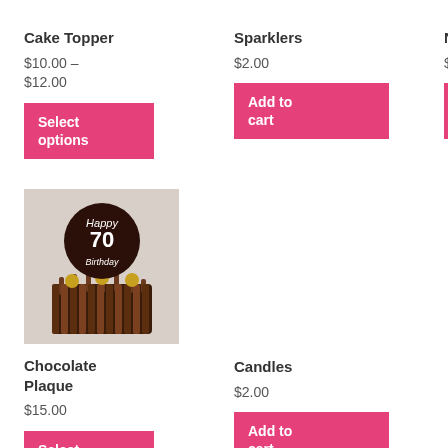Cake Topper
$10.00 – $12.00
Select options
Sparklers
$2.00
Add to cart
NoteCard
$2.00
Select options
[Figure (photo): Chocolate plaque cake topper with 'Happy 70 Birthday' text and gold decorations]
Chocolate Plaque
$15.00
Select options
Candles
$2.00
Add to cart